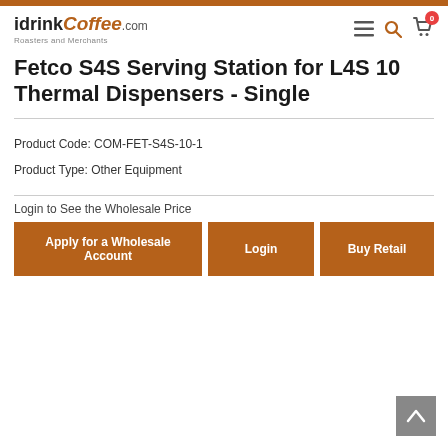[Figure (logo): idrinkcoffee.com logo with 'Roasters and Merchants' tagline]
Fetco S4S Serving Station for L4S 10 Thermal Dispensers - Single
Product Code: COM-FET-S4S-10-1
Product Type: Other Equipment
Login to See the Wholesale Price
Apply for a Wholesale Account | Login | Buy Retail